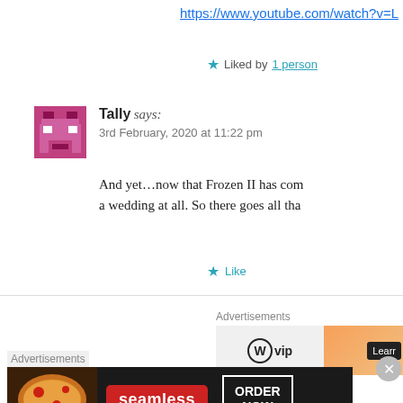https://www.youtube.com/watch?v=L...
★ Liked by 1 person
Tally says:
3rd February, 2020 at 11:22 pm
And yet…now that Frozen II has com... a wedding at all. So there goes all tha...
★ Like
[Figure (screenshot): WordPress VIP advertisement banner]
[Figure (screenshot): Seamless food ordering advertisement with pizza image, Seamless logo, and ORDER NOW button]